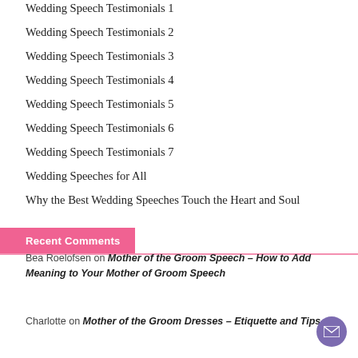Wedding Speech Testimonials 1
Wedding Speech Testimonials 2
Wedding Speech Testimonials 3
Wedding Speech Testimonials 4
Wedding Speech Testimonials 5
Wedding Speech Testimonials 6
Wedding Speech Testimonials 7
Wedding Speeches for All
Why the Best Wedding Speeches Touch the Heart and Soul
Recent Comments
Bea Roelofsen on Mother of the Groom Speech – How to Add Meaning to Your Mother of Groom Speech
Charlotte on Mother of the Groom Dresses – Etiquette and Tips